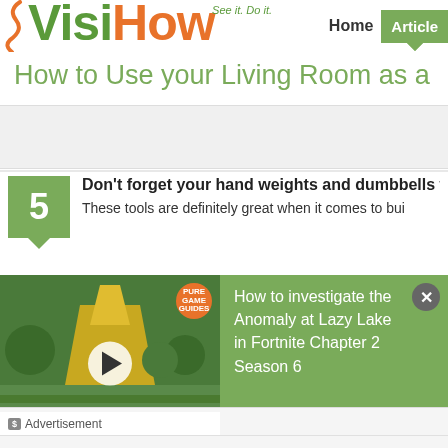[Figure (logo): VisiHow logo with tagline 'See it. Do it.' — 'Visi' in green, 'How' in orange]
Home  Articles
How to Use your Living Room as a
5  Don't forget your hand weights and dumbbells wh
These tools are definitely great when it comes to bui
[Figure (screenshot): Video thumbnail for 'Investigate the Anomaly' Fortnite game guide with play button overlay]
How to investigate the Anomaly at Lazy Lake in Fortnite Chapter 2 Season 6
Advertisement